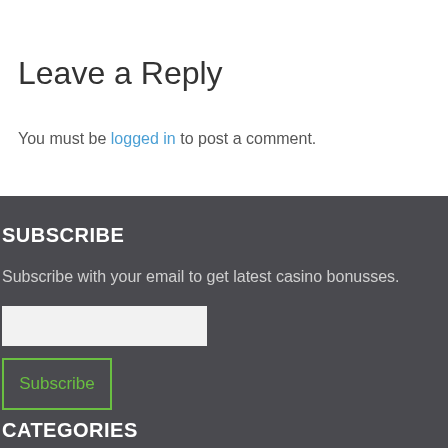Leave a Reply
You must be logged in to post a comment.
SUBSCRIBE
Subscribe with your email to get latest casino bonusses.
CATEGORIES